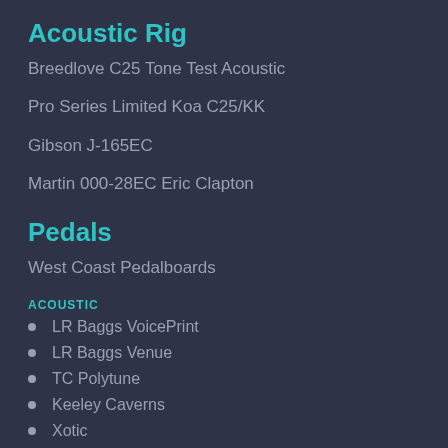Acoustic Rig
Breedlove C25 Tone Test Acoustic
Pro Series Limited Koa C25/KK
Gibson J-165EC
Martin 000-28EC Eric Clapton
Pedals
West Coast Pedalboards
ACOUSTIC
LR Baggs VoicePrint
LR Baggs Venue
TC Polytune
Keeley Caverns
Xotic